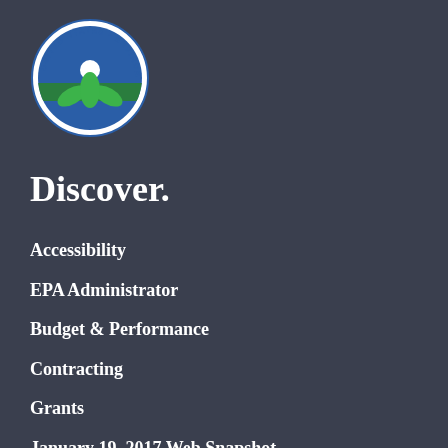[Figure (logo): United States Environmental Protection Agency circular seal with green plant and blue water/sky imagery]
Discover.
Accessibility
EPA Administrator
Budget & Performance
Contracting
Grants
January 19, 2017 Web Snapshot
No FEAR Act Data